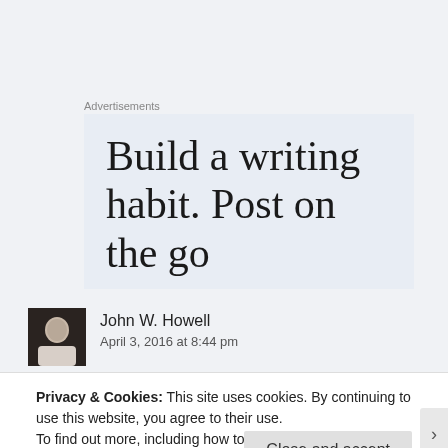Advertisements
[Figure (other): Advertisement banner with text: Build a writing habit. Post on the go]
John W. Howell
April 3, 2016 at 8:44 pm
Privacy & Cookies: This site uses cookies. By continuing to use this website, you agree to their use.
To find out more, including how to control cookies, see here: Cookie Policy
Close and accept